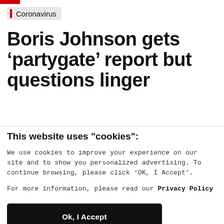Coronavirus
Boris Johnson gets ‘partygate’ report but questions linger
This website uses "cookies":
We use cookies to improve your experience on our site and to show you personalized advertising. To continue browsing, please click ‘OK, I Accept’.
For more information, please read our Privacy Policy
Ok, I Accept